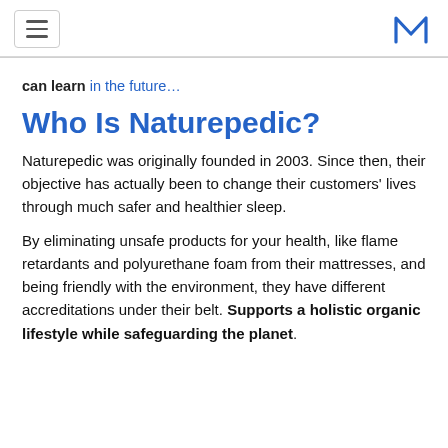[hamburger menu icon] [M logo]
can learn in the future…
Who Is Naturepedic?
Naturepedic was originally founded in 2003. Since then, their objective has actually been to change their customers' lives through much safer and healthier sleep.
By eliminating unsafe products for your health, like flame retardants and polyurethane foam from their mattresses, and being friendly with the environment, they have different accreditations under their belt. Supports a holistic organic lifestyle while safeguarding the planet.